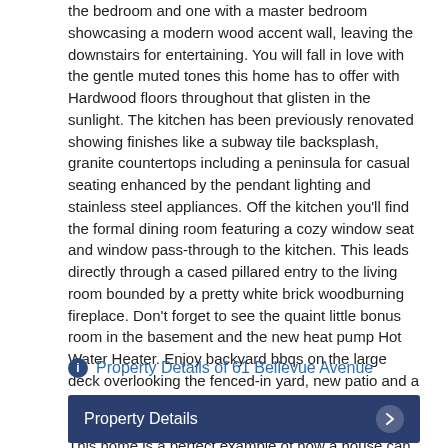the bedroom and one with a master bedroom showcasing a modern wood accent wall, leaving the downstairs for entertaining. You will fall in love with the gentle muted tones this home has to offer with Hardwood floors throughout that glisten in the sunlight. The kitchen has been previously renovated showing finishes like a subway tile backsplash, granite countertops including a peninsula for casual seating enhanced by the pendant lighting and stainless steel appliances. Off the kitchen you'll find the formal dining room featuring a cozy window seat and window pass-through to the kitchen. This leads directly through a cased pillared entry to the living room bounded by a pretty white brick woodburning fireplace. Don't forget to see the quaint little bonus room in the basement and the new heat pump Hot Water Heater. Enjoy backyard bbqs on the large deck overlooking the fenced-in yard, new patio and a mountain view or sip coffee on the front porch which spans the whole front of the home. One car garage. This home is a perfect example of how a house can be kept up and modernized without losing the original characteristics of this historic home.
Property Details of 61 Bellevue Avenue
Property Details